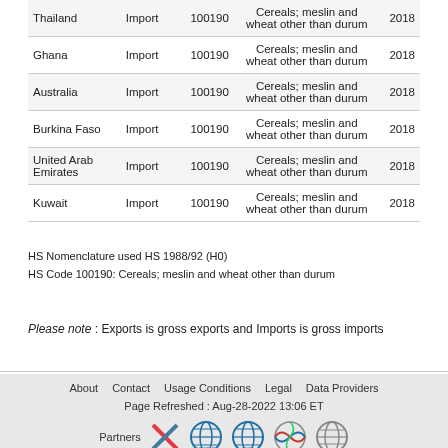| Country | Trade Type | HS Code | Description | Year |
| --- | --- | --- | --- | --- |
| Thailand | Import | 100190 | Cereals; meslin and wheat other than durum | 2018 |
| Ghana | Import | 100190 | Cereals; meslin and wheat other than durum | 2018 |
| Australia | Import | 100190 | Cereals; meslin and wheat other than durum | 2018 |
| Burkina Faso | Import | 100190 | Cereals; meslin and wheat other than durum | 2018 |
| United Arab Emirates | Import | 100190 | Cereals; meslin and wheat other than durum | 2018 |
| Kuwait | Import | 100190 | Cereals; meslin and wheat other than durum | 2018 |
HS Nomenclature used HS 1988/92 (H0)
HS Code 100190: Cereals; meslin and wheat other than durum
Please note : Exports is gross exports and Imports is gross imports
About   Contact   Usage Conditions   Legal   Data Providers
Page Refreshed : Aug-28-2022 13:06 ET
Partners [logos]